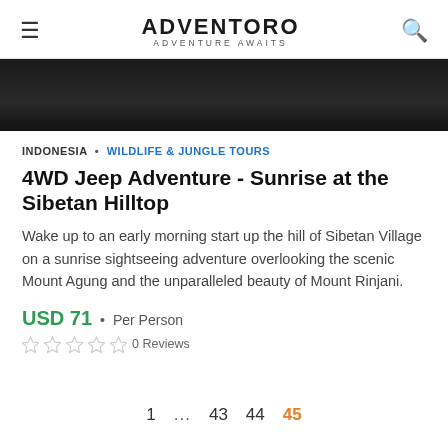ADVENTORO • ADVENTURE AWAITS
[Figure (photo): Dark/black hero image banner]
INDONESIA • WILDLIFE & JUNGLE TOURS
4WD Jeep Adventure - Sunrise at the Sibetan Hilltop
Wake up to an early morning start up the hill of Sibetan Village on a sunrise sightseeing adventure overlooking the scenic Mount Agung and the unparalleled beauty of Mount Rinjani.
USD 71 • Per Person
0 Reviews
1 ... 43 44 45